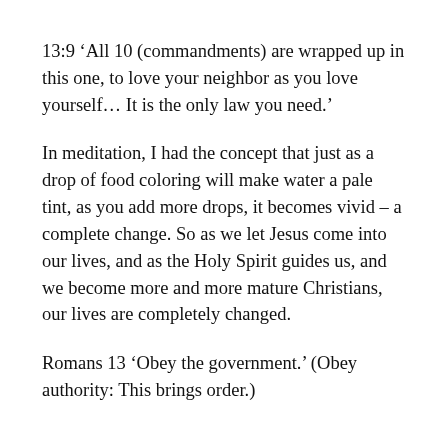13:9 ‘All 10 (commandments) are wrapped up in this one, to love your neighbor as you love yourself… It is the only law you need.’
In meditation, I had the concept that just as a drop of food coloring will make water a pale tint, as you add more drops, it becomes vivid – a complete change. So as we let Jesus come into our lives, and as the Holy Spirit guides us, and we become more and more mature Christians, our lives are completely changed.
Romans 13 ‘Obey the government.’ (Obey authority: This brings order.)